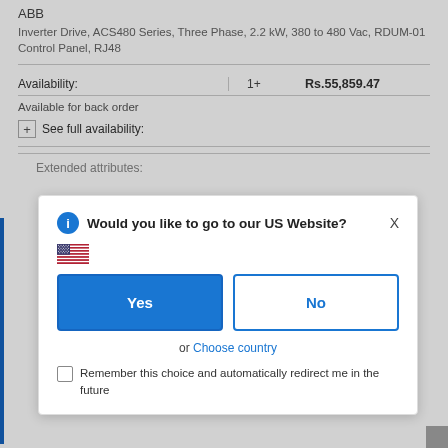ABB
Inverter Drive, ACS480 Series, Three Phase, 2.2 kW, 380 to 480 Vac, RDUM-01 Control Panel, RJ48
| Availability: | 1+ | Rs.55,859.47 |
| --- | --- | --- |
| Available for back order |  |  |
See full availability:
Extended attributes:
Would you like to go to our US Website?
Yes
No
or  Choose country
Remember this choice and automatically redirect me in the future